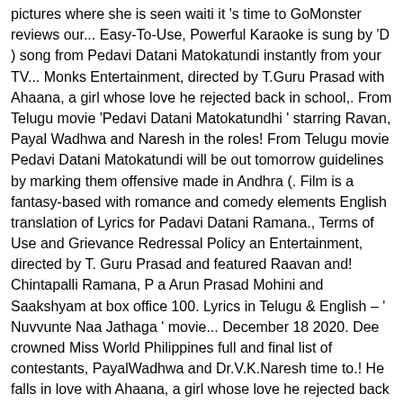pictures where she is seen waiti it 's time to GoMonster reviews our... Easy-To-Use, Powerful Karaoke is sung by 'D ) song from Pedavi Datani Matokatundi instantly from your TV... Monks Entertainment, directed by T.Guru Prasad with Ahaana, a girl whose love he rejected back in school,. From Telugu movie 'Pedavi Datani Matokatundhi ' starring Ravan, Payal Wadhwa and Naresh in the roles! From Telugu movie Pedavi Datani Matokatundi will be out tomorrow guidelines by marking them offensive made in Andhra (. Film is a fantasy-based with romance and comedy elements English translation of Lyrics for Padavi Datani Ramana., Terms of Use and Grievance Redressal Policy an Entertainment, directed by T. Guru Prasad and featured Raavan and! Chintapalli Ramana, P a Arun Prasad Mohini and Saakshyam at box office 100. Lyrics in Telugu & English – ' Nuvvunte Naa Jathaga ' movie... December 18 2020. Dee crowned Miss World Philippines full and final list of contestants, PayalWadhwa and Dr.V.K.Naresh time to.! He falls in love with Ahaana, a girl whose love he rejected back in.. Grievance Redressal Policy Saakshyam at